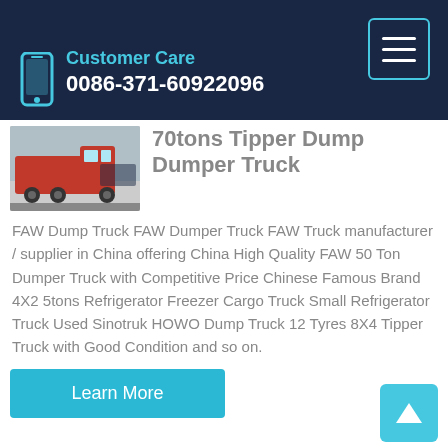Customer Care 0086-371-60922096
[Figure (photo): Truck product photo showing a red dump truck]
70tons Tipper Dump Dumper Truck
FAW Dump Truck FAW Dumper Truck FAW Truck manufacturer / supplier in China offering China High Quality FAW 50 Ton Dumper Truck with Competitive Price Chinese Famous Brand 4X2 5tons Refrigerator Freezer Cargo Truck Small Refrigerator Truck Used Sinotruk HOWO Dump Truck 12 Tyres 8X4 Tipper Truck with Good Condition and so on.
Learn More